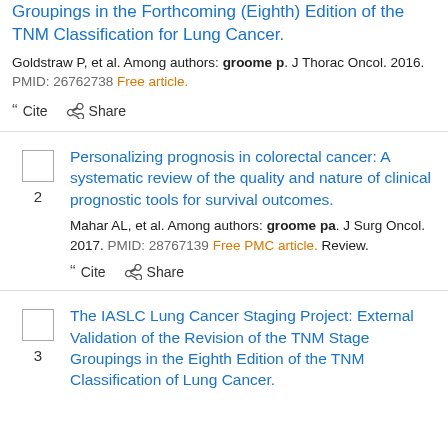Groupings in the Forthcoming (Eighth) Edition of the TNM Classification for Lung Cancer.
Goldstraw P, et al. Among authors: groome p. J Thorac Oncol. 2016. PMID: 26762738 Free article.
Cite  Share
Personalizing prognosis in colorectal cancer: A systematic review of the quality and nature of clinical prognostic tools for survival outcomes.
Mahar AL, et al. Among authors: groome pa. J Surg Oncol. 2017. PMID: 28767139 Free PMC article. Review.
Cite  Share
The IASLC Lung Cancer Staging Project: External Validation of the Revision of the TNM Stage Groupings in the Eighth Edition of the TNM Classification of Lung Cancer.